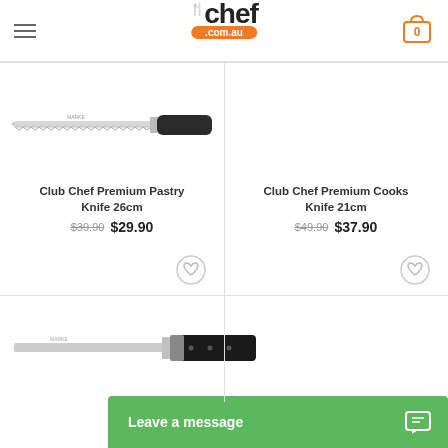chef .com.au
[Figure (photo): Club Chef Premium Pastry Knife 26cm product image - long knife with black handle]
[Figure (photo): Club Chef Premium Cooks Knife 21cm product image - knife with black handle, BEST SELLER badge]
Club Chef Premium Pastry Knife 26cm
$39.90  $29.90
Club Chef Premium Cooks Knife 21cm
$49.90  $37.90
[Figure (photo): Knife product image at bottom left - partial view of a knife with black handle]
Leave a message